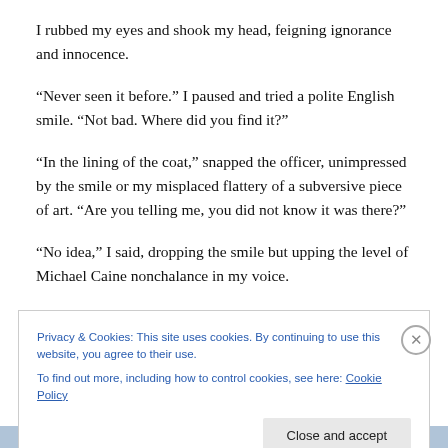I rubbed my eyes and shook my head, feigning ignorance and innocence.
“Never seen it before.” I paused and tried a polite English smile. “Not bad. Where did you find it?”
“In the lining of the coat,” snapped the officer, unimpressed by the smile or my misplaced flattery of a subversive piece of art. “Are you telling me, you did not know it was there?”
“No idea,” I said, dropping the smile but upping the level of Michael Caine nonchalance in my voice.
Privacy & Cookies: This site uses cookies. By continuing to use this website, you agree to their use.
To find out more, including how to control cookies, see here: Cookie Policy
Close and accept